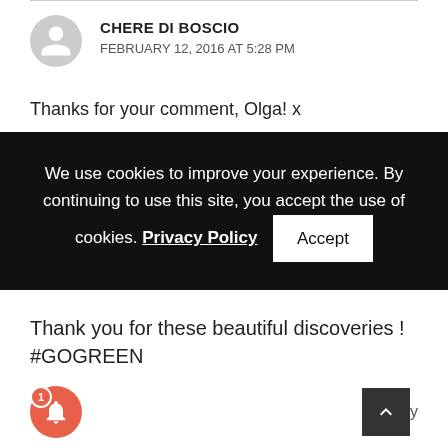CHERE DI BOSCIO
FEBRUARY 12, 2016 AT 5:28 PM
Thanks for your comment, Olga! x
We use cookies to improve your experience. By continuing to use this site, you accept the use of cookies. Privacy Policy  Accept
Thank you for these beautiful discoveries ! #GOGREEN